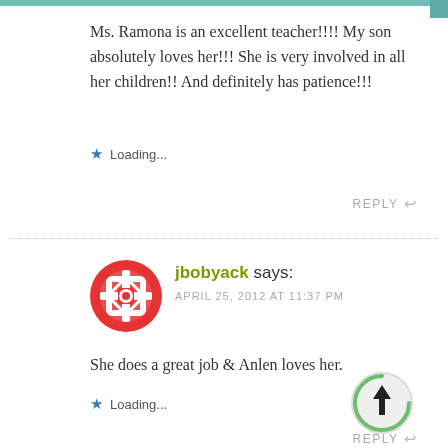Ms. Ramona is an excellent teacher!!!! My son absolutely loves her!!! She is very involved in all her children!! And definitely has patience!!!
Loading...
REPLY
jbobyack says: APRIL 25, 2012 AT 11:37 PM
She does a great job & Anlen loves her.
Loading...
REPLY